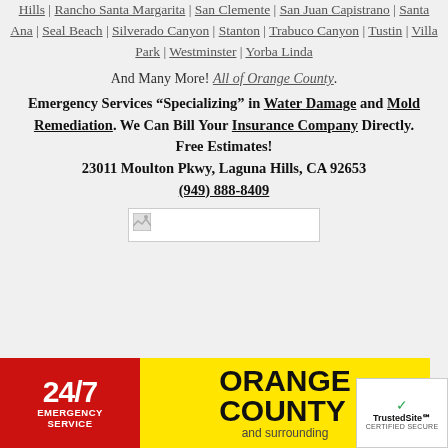Hills | Rancho Santa Margarita | San Clemente | San Juan Capistrano | Santa Ana | Seal Beach | Silverado Canyon | Stanton | Trabuco Canyon | Tustin | Villa Park | Westminster | Yorba Linda
And Many More! All of Orange County.
Emergency Services “Specializing” in Water Damage and Mold Remediation. We Can Bill Your Insurance Company Directly. Free Estimates! 23011 Moulton Pkwy, Laguna Hills, CA 92653 (949) 888-8409
[Figure (other): Broken image placeholder icon]
[Figure (infographic): Banner: red section with '24/7 EMERGENCY SERVICE', yellow section with 'ORANGE COUNTY and surrounding']
[Figure (logo): TrustedSite CERTIFIED SECURE badge]